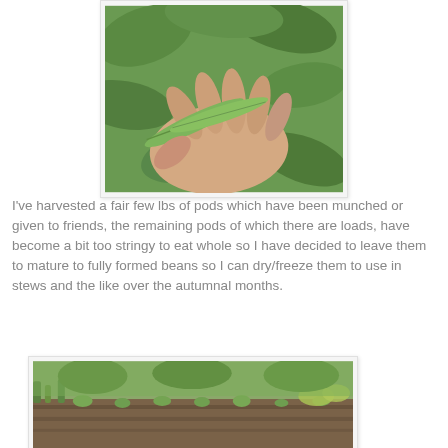[Figure (photo): A hand holding green bean pods with green leafy plant background]
I've harvested a fair few lbs of pods which have been munched or given to friends, the remaining pods of which there are loads, have become a bit too stringy to eat whole so I have decided to leave them to mature to fully formed beans so I can dry/freeze them to use in stews and the like over the autumnal months.
[Figure (photo): A garden bed with soil rows and green plants/weeds growing in rows]